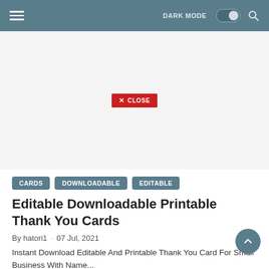≡  DARK MODE  🔍
[Figure (other): Advertisement placeholder area with a red CLOSE button in the center]
CARDS
DOWNLOADABLE
EDITABLE
Editable Downloadable Printable Thank You Cards
By hatori1 · 07 Jul, 2021
Instant Download Editable And Printable Thank You Card For Small Business With Name...